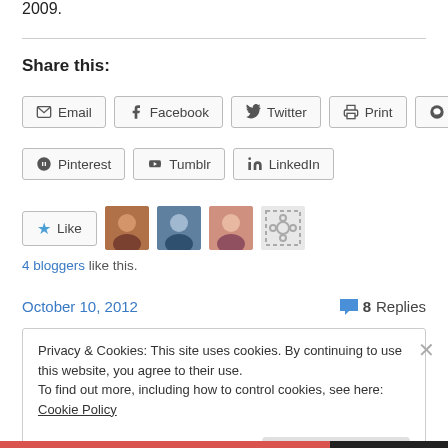2009.
Share this:
Email  Facebook  Twitter  Print  Reddit
Pinterest  Tumblr  LinkedIn
[Figure (other): Like button with star icon and 4 blogger avatars]
4 bloggers like this.
October 10, 2012  |  8 Replies
Privacy & Cookies: This site uses cookies. By continuing to use this website, you agree to their use. To find out more, including how to control cookies, see here: Cookie Policy